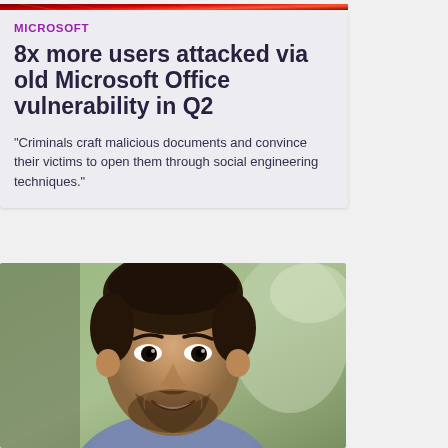[Figure (photo): Red digital/network background image banner at top of article card]
MICROSOFT
8x more users attacked via old Microsoft Office vulnerability in Q2
"Criminals craft malicious documents and convince their victims to open them through social engineering techniques."
[Figure (photo): Portrait photo of a smiling man with short dark hair and beard, outdoors with blurred green background]